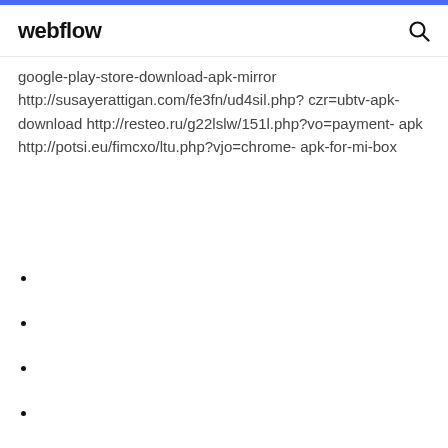webflow
google-play-store-download-apk-mirror http://susayerattigan.com/fe3fn/ud4sil.php?czr=ubtv-apk-download http://resteo.ru/g22lslw/151l.php?vo=payment-apk http://potsi.eu/fimcxo/ltu.php?vjo=chrome-apk-for-mi-box